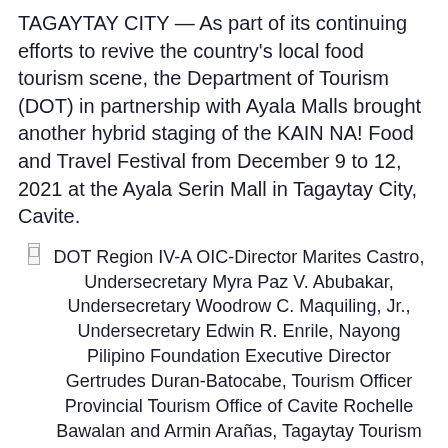TAGAYTAY CITY — As part of its continuing efforts to revive the country's local food tourism scene, the Department of Tourism (DOT) in partnership with Ayala Malls brought another hybrid staging of the KAIN NA! Food and Travel Festival from December 9 to 12, 2021 at the Ayala Serin Mall in Tagaytay City, Cavite.
DOT Region IV-A OIC-Director Marites Castro, Undersecretary Myra Paz V. Abubakar, Undersecretary Woodrow C. Maquiling, Jr., Undersecretary Edwin R. Enrile, Nayong Pilipino Foundation Executive Director Gertrudes Duran-Batocabe, Tourism Officer Provincial Tourism Office of Cavite Rochelle Bawalan and Armin Arañas, Tagaytay Tourism officer Jarryd Bello, Ayala Malls General Manager Tina De Asis, and Ayala Mall Serin Marketing Manager Jeanette Gonzales graced